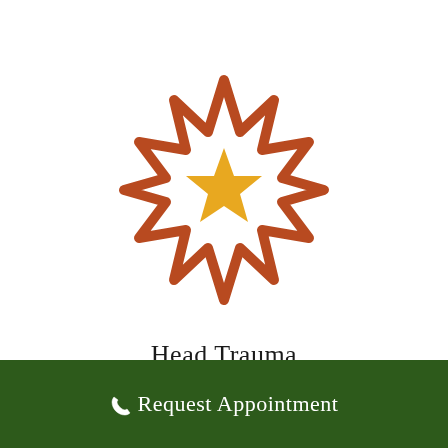[Figure (illustration): A spiky starburst/explosion icon with a reddish-brown outline and a golden-yellow star shape in the center, representing head trauma or impact injury.]
Head Trauma
Request Appointment